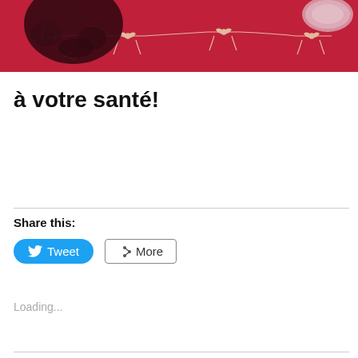[Figure (photo): Close-up photo of a red fabric or tablecloth with decorative cream/gold bow/ribbon pattern, with dark maroon fuzzy pom-pom decoration on the left and a glass or crystal object partially visible on the upper right.]
à votre santé!
Share this:
[Figure (infographic): Two share buttons: a blue Twitter 'Tweet' button and a grey outlined 'More' button with share icon.]
Loading...